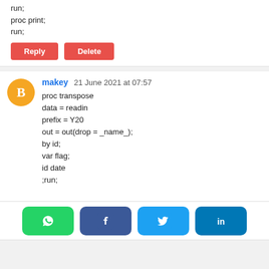run;
proc print;
run;
Reply
Delete
makey  21 June 2021 at 07:57
proc transpose
data = readin
prefix = Y20
out = out(drop = _name_);
by id;
var flag;
id date
;run;


proc sql ;
select cats("", name, "n", '=', tranwrd(name, '/', '_'))
into :new_names separated by " "
from dictionary.columns
where libname eq 'WORK'
and memname eq 'OUT'
and name like 'Y%'
;quit;


data work.out: